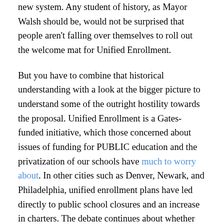new system. Any student of history, as Mayor Walsh should be, would not be surprised that people aren't falling over themselves to roll out the welcome mat for Unified Enrollment.
But you have to combine that historical understanding with a look at the bigger picture to understand some of the outright hostility towards the proposal. Unified Enrollment is a Gates-funded initiative, which those concerned about issues of funding for PUBLIC education and the privatization of our schools have much to worry about. In other cities such as Denver, Newark, and Philadelphia, unified enrollment plans have led directly to public school closures and an increase in charters. The debate continues about whether charters are the answer for low-income students of color otherwise stuck in struggling district schools, but the evidence is certainly not a clear